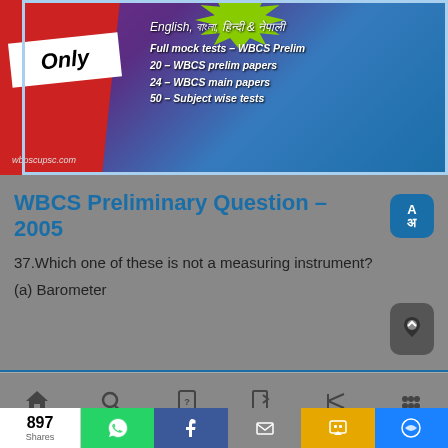[Figure (infographic): Promotional banner for WBCS exam preparation app. Shows 'Only' text on white label, multilingual support (English, বাংলা, हिन्दी & नेपाली), and lists: Full mock tests - WBCS Prelim, 20 - WBCS prelim papers, 24 - WBCS main papers, 50 - Subject wise tests. Website: wbpscupsc.com]
WBCS Preliminary Question – 2005
37.Which one of these is not a measuring instrument?
(a) Barometer
Home  Search  Prelim  Main  Mock Test  Discussion
897 Shares